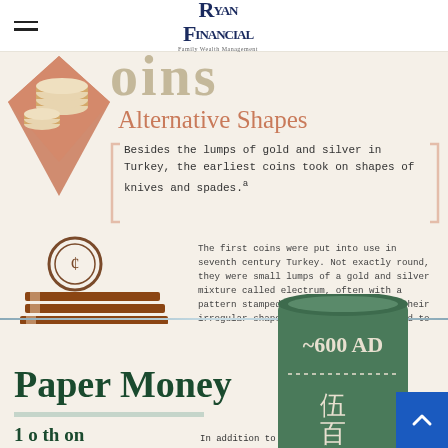Ryan Financial — Family Wealth Management
[Figure (infographic): Coins infographic section with stacked coin illustration, 'Alternative Shapes' heading, bracket-enclosed text about earliest coins taking shapes of knives and spades, and a circular coin with stacked bars illustration]
Besides the lumps of gold and silver in Turkey, the earliest coins took on shapes of knives and spades.a
The first coins were put into use in seventh century Turkey. Not exactly round, they were small lumps of a gold and silver mixture called electrum, often with a pattern stamped on one side. Despite their irregular shapes, early coins were held to strict weight standards.b
[Figure (infographic): Paper Money section with ~600 AD banner showing Chinese currency symbol, Paper Money title in dark green, and partial text about first paper money]
Paper Money
In addition to the first paper